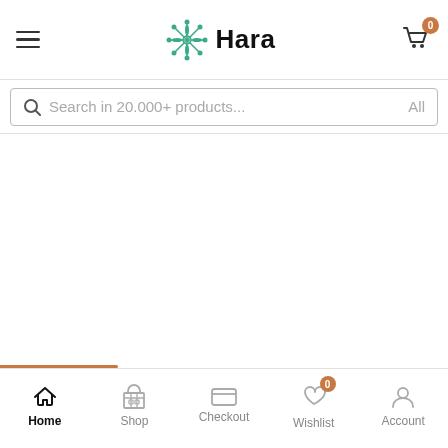Hara — navigation header with hamburger menu, logo, and cart icon showing 0 items
Search in 20.000+ products... All
Home | Shop | Checkout | Wishlist (0) | Account